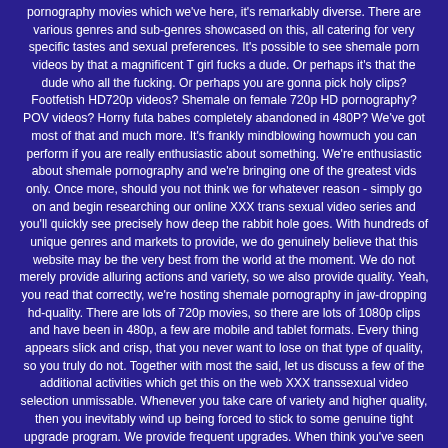pornography movies which we've here, it's remarkably diverse. There are various genres and sub-genres showcased on this, all catering for very specific tastes and sexual preferences. It's possible to see shemale porn videos by that a magnificent T girl fucks a dude. Or perhaps it's that the dude who all the fucking. Or perhaps you are gonna pick holy clips? Footfetish HD720p videos? Shemale on female 720p HD pornography? POV videos? Horny futa babes completely abandoned in 480P? We've got most of that and much more. It's frankly mindblowing howmuch you can perform if you are really enthusiastic about something. We're enthusiastic about shemale pornography and we're bringing one of the greatest vids only. Once more, should you not think we for whatever reason - simply go on and begin researching our online XXX trans sexual video series and you'll quickly see precisely how deep the rabbit hole goes. With hundreds of unique genres and markets to provide, we do genuinely believe that this website may be the very best from the world at the moment. We do not merely provide alluring actions and variety, so we also provide quality. Yeah, you read that correctly, we're hosting shemale pornography in jaw-dropping hd-quality. There are lots of 720p movies, so there are lots of 1080p clips and have been in 480p, a few are mobile and tablet formats. Every thing appears slick and crisp, that you never want to lose on that type of quality, so you truly do not. Together with most the said, let us discuss a few of the additional activities which get this on the web XXX transsexual video selection unmissable. Whenever you take care of variety and higher quality, then you inevitably wind up being forced to stick to some genuine tight upgrade program. We provide frequent upgrades. When think you've seen every one of the She Male porn movies that our internet site offers, you obtain yourself a brand new batch of videos. We love to help keep you guessing and also we love extending your sexual horizons, therefore the brand new transsexual sex videos online really are often times unique and inventive. We're not attempting to break fresh ground here, however we are attempting to explain to you some thing you've never seen previously. Why? Because we are able to. Discussing of those items which individuals are able to perform to you - we are able to create this adventure is both eloquent and fluid as is. We will allow it to